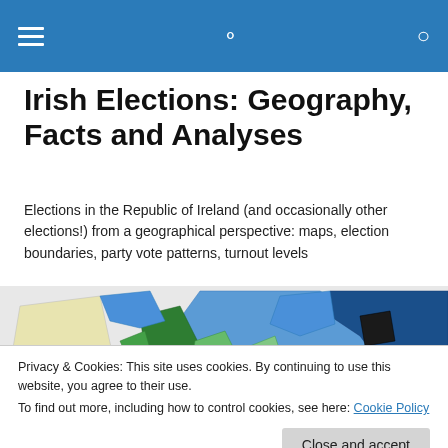Irish Elections: Geography, Facts and Analyses — navigation bar
Irish Elections: Geography, Facts and Analyses
Elections in the Republic of Ireland (and occasionally other elections!) from a geographical perspective: maps, election boundaries, party vote patterns, turnout levels
[Figure (map): Colorful electoral map showing various constituencies in shades of blue, green, and yellow]
Privacy & Cookies: This site uses cookies. By continuing to use this website, you agree to their use.
To find out more, including how to control cookies, see here: Cookie Policy
Close and accept